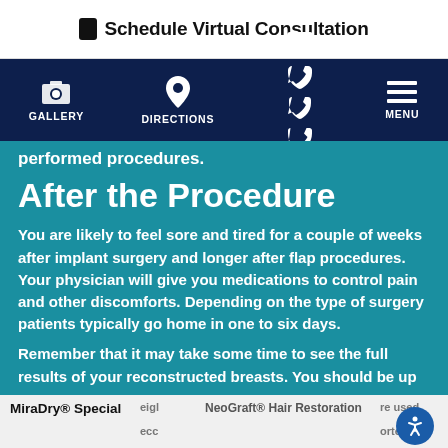Schedule Virtual Consultation
GALLERY   DIRECTIONS   CONTACT   MENU
performed procedures.
After the Procedure
You are likely to feel sore and tired for a couple of weeks after implant surgery and longer after flap procedures. Your physician will give you medications to control pain and other discomforts. Depending on the type of surgery patients typically go home in one to six days.
Remember that it may take some time to see the full results of your reconstructed breasts. You should be up to weight ... are used ... eco ... orter.
MiraDry® Special   NeoGraft® Hair Restoration